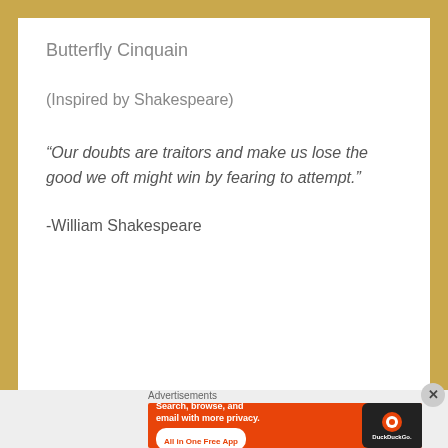Butterfly Cinquain
(Inspired by Shakespeare)
“Our doubts are traitors and make us lose the good we oft might win by fearing to attempt.”
-William Shakespeare
Advertisements
[Figure (infographic): DuckDuckGo advertisement banner with orange background showing 'Search, browse, and email with more privacy. All in One Free App' with DuckDuckGo logo and phone image]